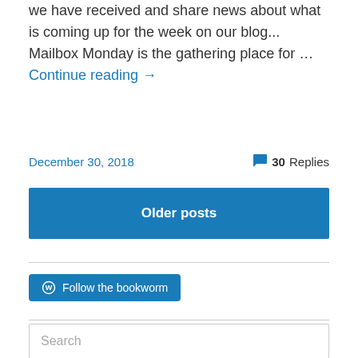we have received and share news about what is coming up for the week on our blog... Mailbox Monday is the gathering place for ... Continue reading →
December 30, 2018
30 Replies
Older posts
Follow the bookworm
Search
Tweets from